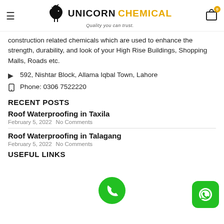Unicorn Chemical — Quality you can trust.
construction related chemicals which are used to enhance the strength, durability, and look of your High Rise Buildings, Shopping Malls, Roads etc.
592, Nishtar Block, Allama Iqbal Town, Lahore
Phone: 0306 7522220
RECENT POSTS
Roof Waterproofing in Taxila
February 5, 2022  No Comments
Roof Waterproofing in Talagang
February 5, 2022  No Comments
USEFUL LINKS